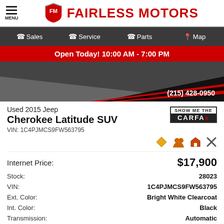[Figure (logo): Fairless Motors logo with red FM shield and red text FAIRLESS MOTORS]
Sales | Service | Parts | Map
Open Today! 10:00 AM - 7:00 PM
[Figure (photo): Partial car photo with dark background and red stripe, phone number (215) 428-0950]
Used 2015 Jeep Cherokee Latitude SUV
VIN: 1C4PJMCS9FW563795
[Figure (logo): Show Me The CARFAX logo]
Internet Price: $17,900
| Label | Value |
| --- | --- |
| Stock: | 28023 |
| VIN: | 1C4PJMCS9FW563795 |
| Ext. Color: | Bright White Clearcoat |
| Int. Color: | Black |
| Transmission: | Automatic |
| Mileage: | 111,475 |